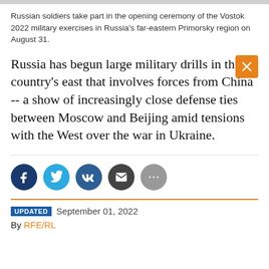Russian soldiers take part in the opening ceremony of the Vostok 2022 military exercises in Russia's far-eastern Primorsky region on August 31.
Russia has begun large military drills in the country's east that involves forces from China -- a show of increasingly close defense ties between Moscow and Beijing amid tensions with the West over the war in Ukraine.
UPDATED September 01, 2022
By RFE/RL